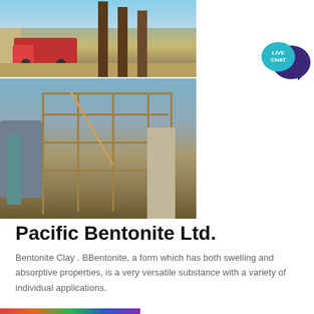[Figure (photo): Two stacked industrial/mining site photographs. Top: a red truck with large cylindrical pillars/chimneys in background against a sky. Bottom: a large industrial scaffold/processing plant structure with pipes and metal framework.]
[Figure (infographic): Live Chat button with teal speech bubble in front of dark purple speech bubble, labeled LIVE CHAT in white text.]
Pacific Bentonite Ltd.
Bentonite Clay . BBentonite, a form which has both swelling and absorptive properties, is a very versatile substance with a variety of individual applications.